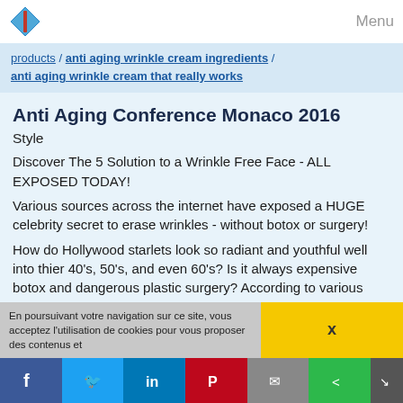Menu
products / anti aging wrinkle cream ingredients / anti aging wrinkle cream that really works
Anti Aging Conference Monaco 2016
Style
Discover The 5 Solution to a Wrinkle Free Face - ALL EXPOSED TODAY!
Various sources across the internet have exposed a HUGE celebrity secret to erase wrinkles - without botox or surgery!
How do Hollywood starlets look so radiant and youthful well into thier 40's, 50's, and even 60's? Is it always expensive botox and dangerous plastic surgery? According to various sources, the answer is...
Read more
Website:
http://www.anti.aging.conference.monaco.2016.skin ...
En poursuivant votre navigation sur ce site, vous acceptez l'utilisation de cookies pour vous proposer des contenus et
x